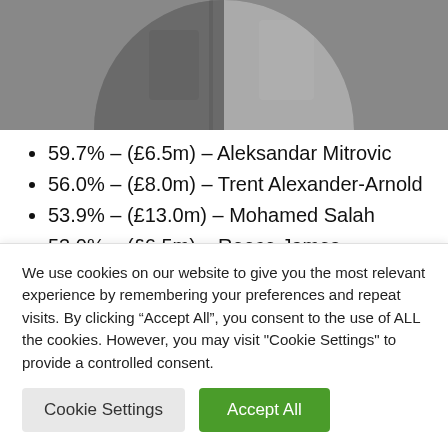[Figure (photo): Circular cropped photo of two football players, left side darker jersey, right side lighter jersey with crowd in background]
59.7% – (£6.5m) – Aleksandar Mitrovic
56.0% – (£8.0m) – Trent Alexander-Arnold
53.9% – (£13.0m) – Mohamed Salah
53.0% – (£6.5m) – Reece James
49.9% – (£6.0m) – Ben Chilwell
We use cookies on our website to give you the most relevant experience by remembering your preferences and repeat visits. By clicking “Accept All”, you consent to the use of ALL the cookies. However, you may visit "Cookie Settings" to provide a controlled consent.